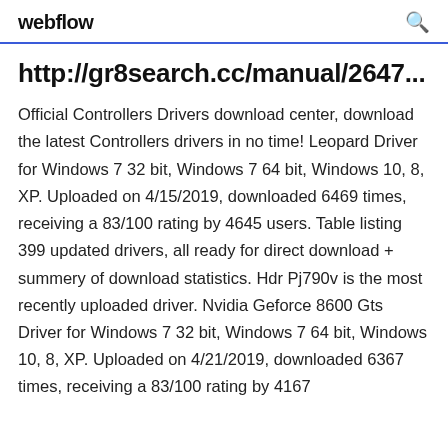webflow
http://gr8search.cc/manual/2647...
Official Controllers Drivers download center, download the latest Controllers drivers in no time! Leopard Driver for Windows 7 32 bit, Windows 7 64 bit, Windows 10, 8, XP. Uploaded on 4/15/2019, downloaded 6469 times, receiving a 83/100 rating by 4645 users. Table listing 399 updated drivers, all ready for direct download + summery of download statistics. Hdr Pj790v is the most recently uploaded driver. Nvidia Geforce 8600 Gts Driver for Windows 7 32 bit, Windows 7 64 bit, Windows 10, 8, XP. Uploaded on 4/21/2019, downloaded 6367 times, receiving a 83/100 rating by 4167